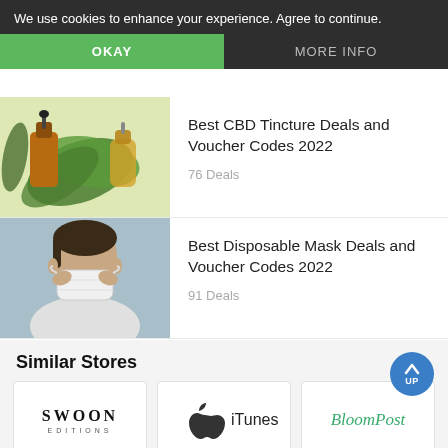We use cookies to enhance your experience. Agree to continue.
OKAY
MORE INFO
[Figure (photo): CBD tincture bottles and cannabis leaves on light background]
Best CBD Tincture Deals and Voucher Codes 2022
76 Deals
[Figure (photo): Man putting on a disposable face mask]
Best Disposable Mask Deals and Voucher Codes 2022
91 Deals
Similar Stores
[Figure (logo): Swoon Editions logo]
[Figure (logo): Apple iTunes logo]
[Figure (logo): BloomPost logo]